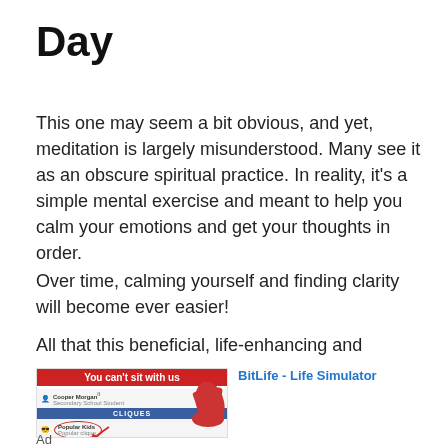Day
This one may seem a bit obvious, and yet, meditation is largely misunderstood. Many see it as an obscure spiritual practice. In reality, it’s a simple mental exercise and meant to help you calm your emotions and get your thoughts in order.
Over time, calming yourself and finding clarity will become ever easier!
All that this beneficial, life-enhancing and
[Figure (screenshot): BitLife - Life Simulator advertisement banner showing 'You can’t sit with us' with cliques game interface]
Ad